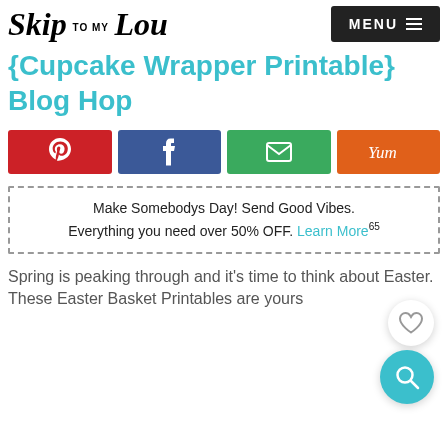Skip to my Lou — MENU
{Cupcake Wrapper Printable} Blog Hop
[Figure (infographic): Social share buttons: Pinterest (red), Facebook (dark blue), Email (green), Yummly (orange)]
Make Somebodys Day! Send Good Vibes. Everything you need over 50% OFF. Learn More65
Spring is peaking through and it's time to think about Easter.  These Easter Basket Printables are yours